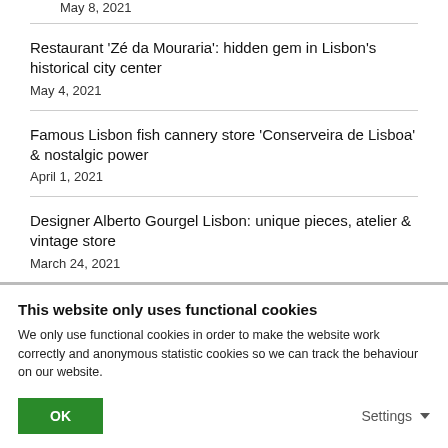May 8, 2021
Restaurant ‘Zé da Mouraria’: hidden gem in Lisbon’s historical city center
May 4, 2021
Famous Lisbon fish cannery store ‘Conserveira de Lisboa’ & nostalgic power
April 1, 2021
Designer Alberto Gourgel Lisbon: unique pieces, atelier & vintage store
March 24, 2021
This website only uses functional cookies
We only use functional cookies in order to make the website work correctly and anonymous statistic cookies so we can track the behaviour on our website.
OK
Settings